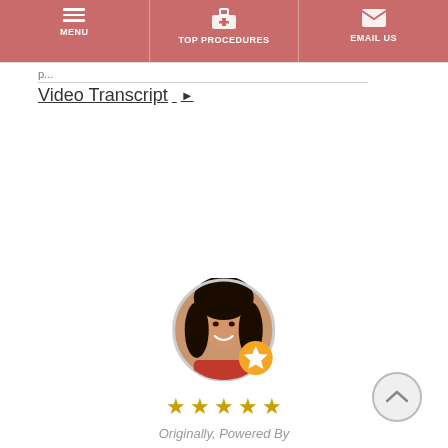MENU | TOP PROCEDURES | EMAIL US
Video Transcript ▶
[Figure (photo): Circular profile photo of a smiling woman with dark hair, with an orange star badge overlay at bottom-right. Below are five gold stars. Text reads 'Originally, Powered By Google'.]